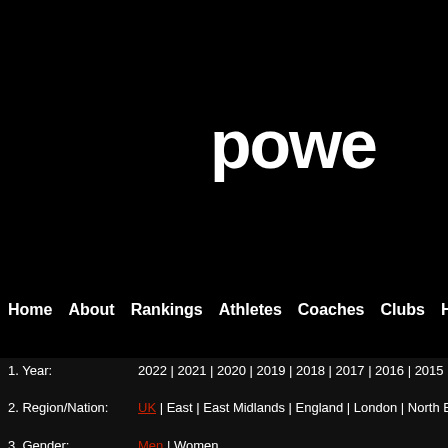powe
Home | About | Rankings | Athletes | Coaches | Clubs | Highlights
1. Year: 2022 | 2021 | 2020 | 2019 | 2018 | 2017 | 2016 | 2015 | 2014 | ...
2. Region/Nation: UK | East | East Midlands | England | London | North East | N ...
3. Gender: Men | Women
4. Group: Overall | Under 20 | Under 17 | Under 15 | Under 13 | Disability
5. Event: 60 | 100 | 200 | 400 | 800 | 1500 | 3000 | 5000 | 2000SC | 60 H | Discus | Hammer | Javelin | Indoor Hep | Decathlon | 4x100 | 4...
TJ U20 Men 2009 to 11.50
| Rank | Perf | PB | Name | Year | Coach |
| --- | --- | --- | --- | --- | --- |